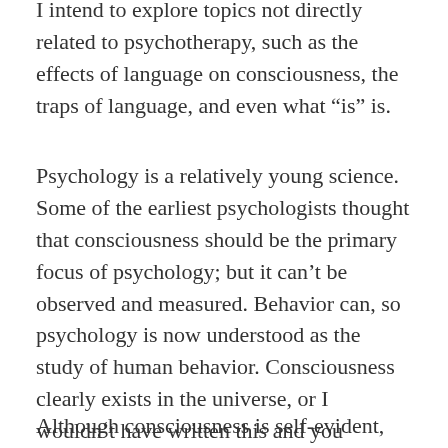I intend to explore topics not directly related to psychotherapy, such as the effects of language on consciousness, the traps of language, and even what “is” is.
Psychology is a relatively young science. Some of the earliest psychologists thought that consciousness should be the primary focus of psychology; but it can’t be observed and measured. Behavior can, so psychology is now understood as the study of human behavior. Consciousness clearly exists in the universe, or I wouldn’t have written this and you wouldn’t be reading it.
Although consciousness is self-evident, science can’t account for it, and it’s relegated to the realm